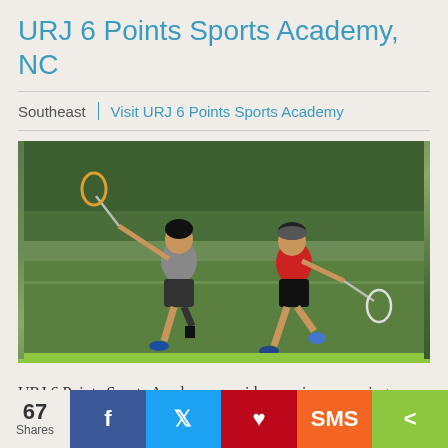URJ 6 Points Sports Academy, NC
Southeast | Visit URJ 6 Points Sports Academy
[Figure (photo): Two boys playing lacrosse on a grass field, one in a gray sleeveless shirt and the other in a red shirt, both carrying lacrosse sticks and running.]
URJ 6 Points Sports Academy provides a unique camping experience that combines professional sports coaching and the beloved traditions of Reform Jewish camping. Campers feed their passion
67 Shares